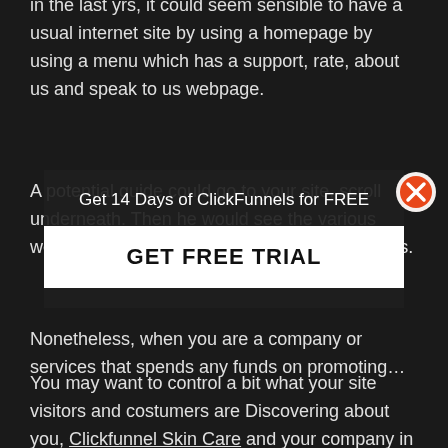in the last yrs, it could seem sensible to have a usual internet site by using a homepage by using a menu which has a support, rate, about us and speak to us webpage.
A potential guide could go to your site, scroll underneath. Then he would see the various web-sites and hopefully consume any materials.
Get 14 Days of ClickFunnels for FREE
GET FREE TRIAL
Nonetheless, when you are a company or services that spends any funds on promoting…
You may want to control a bit what your site visitors and costumers are Discovering about you, Clickfunnel Skin Care and your company in your web site.